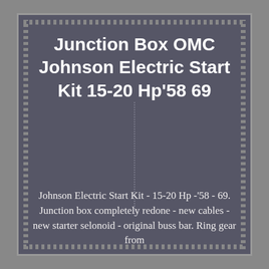Junction Box OMC Johnson Electric Start Kit 15-20 Hp'58 69
[Figure (photo): Placeholder image area with dotted vertical center line, showing a large empty gray area representing a product photo of the junction box kit.]
Johnson Electric Start Kit - 15-20 Hp -'58 - 69. Junction box completely redone - new cables - new starter selonoid - original buss bar. Ring gear from